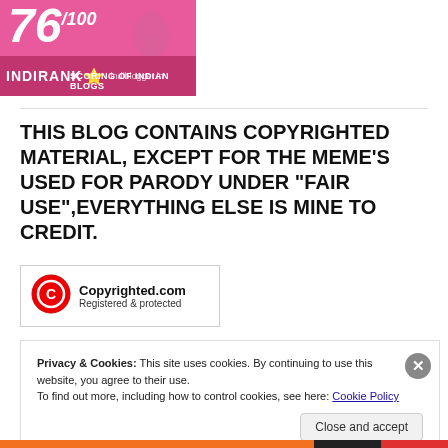[Figure (logo): IndiRank badge showing score 76/100, pink/magenta background with India map silhouette, star icon, indiblogger.in, SCORING OF INDIAN BLOGS]
THIS BLOG CONTAINS COPYRIGHTED MATERIAL, EXCEPT FOR THE MEME'S USED FOR PARODY UNDER "FAIR USE",EVERYTHING ELSE IS MINE TO CREDIT.
[Figure (logo): Copyrighted.com Registered & protected badge with red circle copyright icon]
Privacy & Cookies: This site uses cookies. By continuing to use this website, you agree to their use.
To find out more, including how to control cookies, see here: Cookie Policy
Close and accept